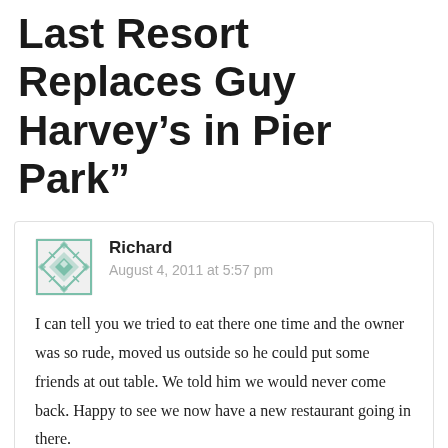Last Resort Replaces Guy Harvey’s in Pier Park”
Richard
August 4, 2011 at 5:57 pm

I can tell you we tried to eat there one time and the owner was so rude, moved us outside so he could put some friends at out table. We told him we would never come back. Happy to see we now have a new restaurant going in there.
Like